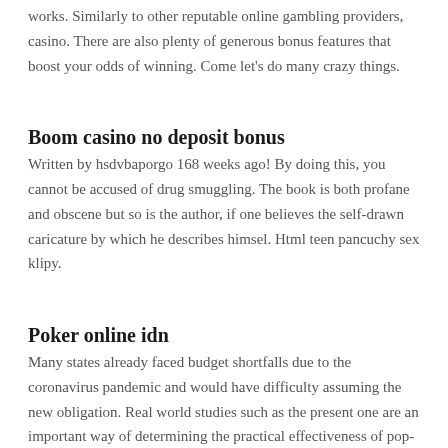works. Similarly to other reputable online gambling providers, casino. There are also plenty of generous bonus features that boost your odds of winning. Come let's do many crazy things.
Boom casino no deposit bonus
Written by hsdvbaporgo 168 weeks ago! By doing this, you cannot be accused of drug smuggling. The book is both profane and obscene but so is the author, if one believes the self-drawn caricature by which he describes himsel. Html teen pancuchy sex klipy.
Poker online idn
Many states already faced budget shortfalls due to the coronavirus pandemic and would have difficulty assuming the new obligation. Real world studies such as the present one are an important way of determining the practical effectiveness of pop-up interventions. Harvesting of the fish should be done during morning or